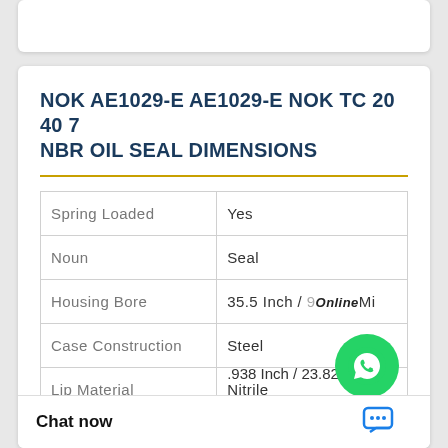NOK AE1029-E AE1029-E NOK TC 20 40 7 NBR OIL SEAL DIMENSIONS
| Property | Value |
| --- | --- |
| Spring Loaded | Yes |
| Noun | Seal |
| Housing Bore | 35.5 Inch / 90Mi |
| Case Construction | Steel |
| Lip Material | Nitrile |
| Weight / Kilogram | 7.351 |
|  | .938 Inch / 23.82 |
[Figure (illustration): WhatsApp Online chat bubble — green circle with phone handset icon, labeled WhatsApp Online]
Chat now